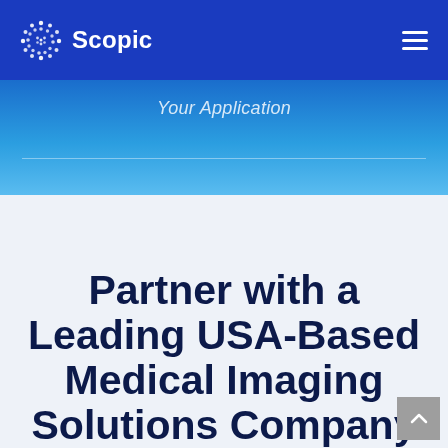[Figure (logo): Scopic company logo with circular dotted icon and white text on dark blue navigation bar]
Your Application
Partner with a Leading USA-Based Medical Imaging Solutions Company